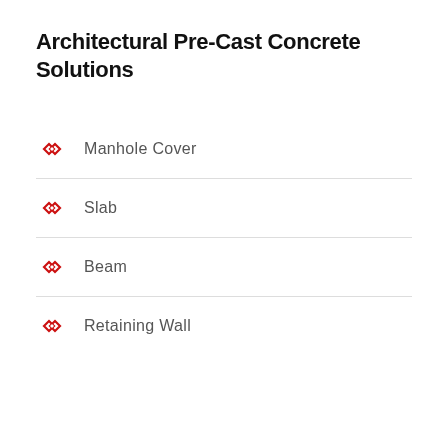Architectural Pre-Cast Concrete Solutions
Manhole Cover
Slab
Beam
Retaining Wall